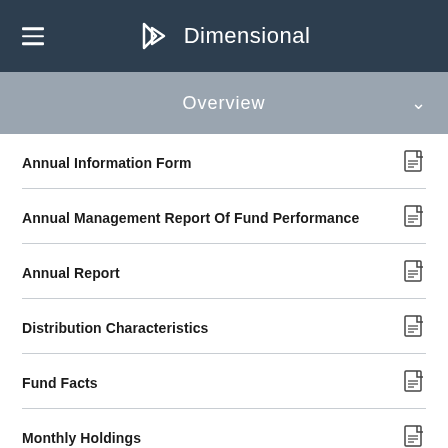Dimensional
Overview
Annual Information Form
Annual Management Report Of Fund Performance
Annual Report
Distribution Characteristics
Fund Facts
Monthly Holdings
PFIC Annual Information Statement